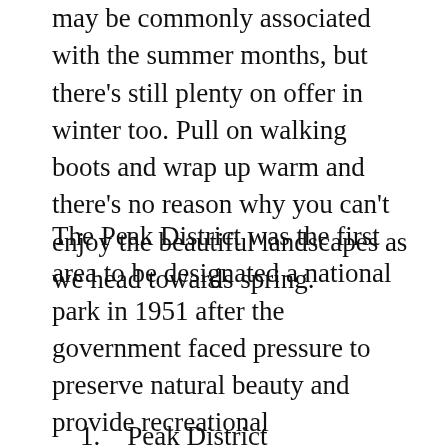may be commonly associated with the summer months, but there's still plenty on offer in winter too. Pull on walking boots and wrap up warm and there's no reason why you can't enjoy the beautiful landscapes as we head towards spring.
The Peak District was the first area to be designated a national park in 1951 after the government faced pressure to preserve natural beauty and provide recreational opportunities to the public. It wasn't long before other areas were named national parks too, and there are now 15 to explore across the UK:
1.   Peak District